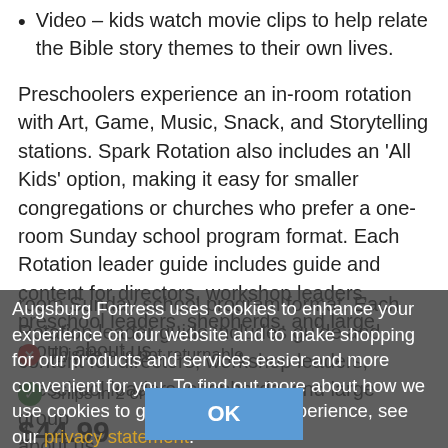Video – kids watch movie clips to help relate the Bible story themes to their own lives.
Preschoolers experience an in-room rotation with Art, Game, Music, Snack, and Storytelling stations. Spark Rotation also includes an 'All Kids' option, making it easy for smaller congregations or churches who prefer a one-room Sunday school program format. Each Rotation leader guide includes guide and content for directors, workshop leaders, preschool leaders, shepherds, and large group about us.
Augsburg Fortress uses cookies to enhance your experience on our website and to make shopping for our products and services easier and more convenient for you. To find out more about how we use cookies to give you a better experience, see our privacy statement.
This item is not returnable
Ships in 2 or more
$44.99